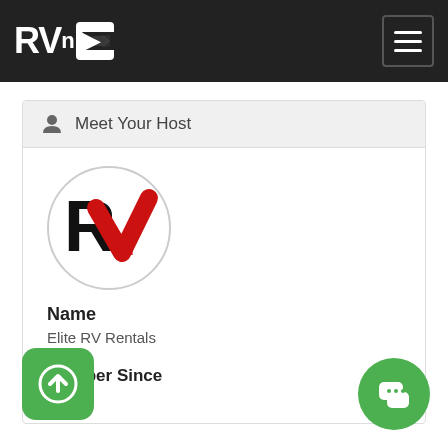RVnGO
Meet Your Host
[Figure (logo): RV Rentals circular logo with black R and red checkmark V with 'Ri' text]
Name
Elite RV Rentals
Member Since
2016
[Figure (illustration): Green rounded square button with white upload arrow icon]
[Figure (illustration): Green circular chat bubble button with white speech bubble icon]